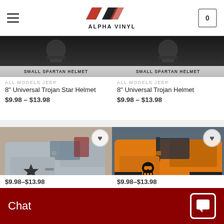[Figure (screenshot): Alpha Vinyl website header with logo showing red/black chevron AV design and text ALPHA VINYL, hamburger menu on left, cart button showing 0 on right]
[Figure (photo): Product image dark background with SMALL SPARTAN HELMET label bar]
ALL MODELS JEEP
8" Universal Trojan Star Helmet
$9.98 – $13.98
[Figure (photo): Product image dark background with SMALL SPARTAN HELMET label bar]
ALL MODELS JEEP
8" Universal Trojan Helmet
$9.98 – $13.98
[Figure (photo): Silver Jeep Wrangler with black star decal on fender, heart/wishlist button overlay]
[Figure (photo): Orange Jeep Wrangler with black skull/Punisher decal on fender, heart/wishlist button overlay]
$9.98 – $13.98
$9.98 – $13.98
Chat